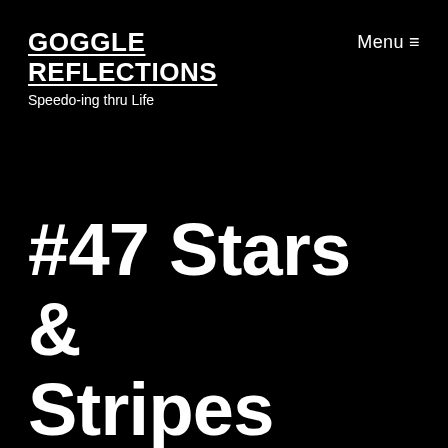GOGGLE REFLECTIONS
Speedo-ing thru Life
Menu ≡
#47 Stars & Stripes and Friendship @ the Y